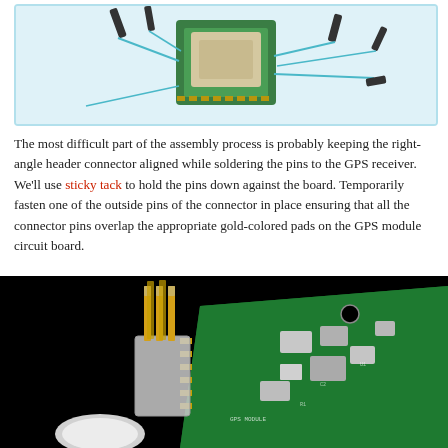[Figure (photo): Top-down view of a GPS receiver module with right-angle header pins attached, shown against a light blue background with a rounded rectangle border.]
The most difficult part of the assembly process is probably keeping the right-angle header connector aligned while soldering the pins to the GPS receiver. We'll use sticky tack to hold the pins down against the board. Temporarily fasten one of the outside pins of the connector in place ensuring that all the connector pins overlap the appropriate gold-colored pads on the GPS module circuit board.
[Figure (photo): Close-up photo of a right-angle male header connector placed next to a green GPS PCB circuit board, on a black background. White cylindrical object visible at lower left.]